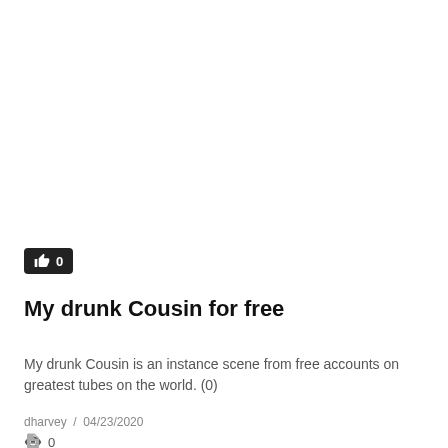[Figure (other): Like button badge showing thumbs up icon and count 0 on dark background]
My drunk Cousin for free
My drunk Cousin is an instance scene from free accounts on greatest tubes on the world. (0)
dharvey  /  04/23/2020
👁 0